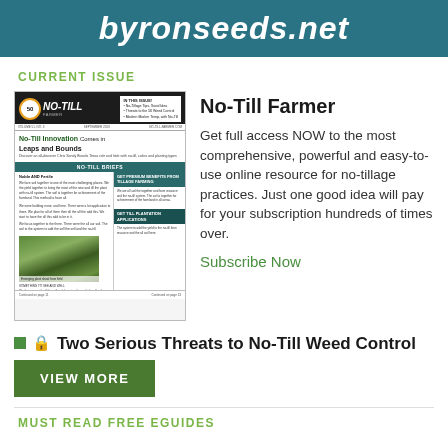byronseeds.net
CURRENT ISSUE
[Figure (illustration): Magazine cover of No-Till Farmer showing headline 'No-Till Innovation Comes in Leaps and Bounds' with farm field photo]
No-Till Farmer
Get full access NOW to the most comprehensive, powerful and easy-to-use online resource for no-tillage practices. Just one good idea will pay for your subscription hundreds of times over.
Subscribe Now
Two Serious Threats to No-Till Weed Control
VIEW MORE
MUST READ FREE EGUIDES